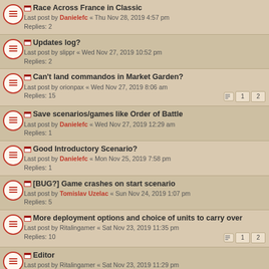Race Across France in Classic
Last post by Danielefc « Thu Nov 28, 2019 4:57 pm
Replies: 2
Updates log?
Last post by slippr « Wed Nov 27, 2019 10:52 pm
Replies: 2
Can't land commandos in Market Garden?
Last post by orionpax « Wed Nov 27, 2019 8:06 am
Replies: 15
Pages: 1 2
Save scenarios/games like Order of Battle
Last post by Danielefc « Wed Nov 27, 2019 12:29 am
Replies: 1
Good Introductory Scenario?
Last post by Danielefc « Mon Nov 25, 2019 7:58 pm
Replies: 1
[BUG?] Game crashes on start scenario
Last post by Tomislav Uzelac « Sun Nov 24, 2019 1:07 pm
Replies: 5
More deployment options and choice of units to carry over
Last post by Ritalingamer « Sat Nov 23, 2019 11:35 pm
Replies: 10
Pages: 1 2
Editor
Last post by Ritalingamer « Sat Nov 23, 2019 11:29 pm
Replies: 3
Digging In
Last post by Heinlager « Fri Nov 22, 2019 2:57 am
Replies: 2
Compare this game to others like it
Last post by Spaceman95 « Thu Nov 21, 2019 7:36 am
Replies: 3